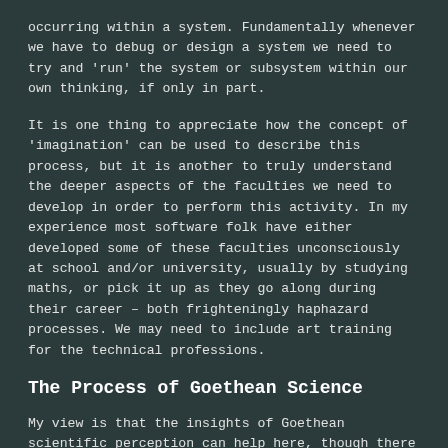occurring within a system. Fundamentally whenever we have to debug or design a system we need to try and 'run' the system or subsystem within our own thinking, if only in part.
It is one thing to appreciate how the concept of 'imagination' can be used to describe this process, but it is another to truly understand the deeper aspects of the faculties we need to develop in order to perform this activity. In my experience most software folk have either developed some of these faculties unconsciously at school and/or university, usually by studying maths, or pick it up as they go along during their career – both frighteningly haphazard processes. We may need to include art training for the technical professions.
The Process of Goethean Science
My view is that the insights of Goethean scientific perception can help here, though there are some important differences due to dealing with dead machines instead of a living natural world.
First let us review ...